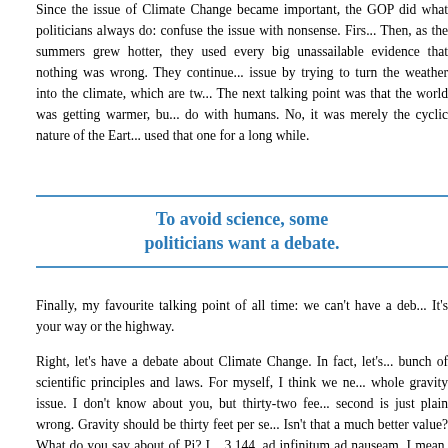Since the issue of Climate Change became important, the GOP did what politicians always do: confuse the issue with nonsense. First, they... Then, as the summers grew hotter, they used every big unassailable evidence that nothing was wrong. They continued the issue by trying to turn the weather into the climate, which are tw... The next talking point was that the world was getting warmer, but... do with humans. No, it was merely the cyclic nature of the Eart... used that one for a long while.
To avoid science, some politicians want a debate.
Finally, my favourite talking point of all time: we can't have a deb... It's your way or the highway.
Right, let's have a debate about Climate Change. In fact, let's... bunch of scientific principles and laws. For myself, I think we ne... whole gravity issue. I don't know about you, but thirty-two fee... second is just plain wrong. Gravity should be thirty feet per se... Isn't that a much better value? What do you say about of Pi? I... 3.144, ad infinitum ad nauseam. I mean, again, that's wrong. Now... can't change it to a nice round number like three, which wouldn't... cause major trouble in all types of calculations. As a little si... legislature once DID try to legislate Pi as being set to three. Fo... failed to pass. There's nothing to say we can't at least set it t... remember value. I say we make it 3.1416; that's a basic value...